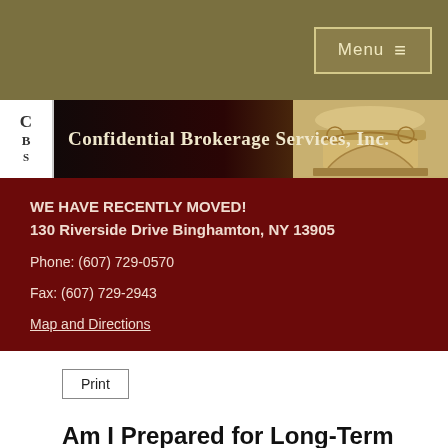Menu ≡
[Figure (logo): Confidential Brokerage Services, Inc. company logo banner with initials CBS and decorative column capital on the right]
WE HAVE RECENTLY MOVED!
130 Riverside Drive Binghamton, NY 13905

Phone: (607) 729-0570

Fax: (607) 729-2943

Map and Directions
Am I Prepared for Long-Term Care Expenses?
In general, Americans are not sufficiently prepared to pay for long-term care. Many of them go through their lives simply hoping that they won't ever need it. Unfortunately, in the event that you as a